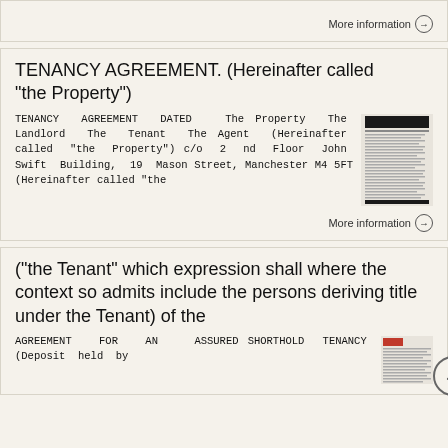More information →
TENANCY AGREEMENT. (Hereinafter called "the Property")
TENANCY AGREEMENT DATED The Property The Landlord The Tenant The Agent (Hereinafter called "the Property") c/o 2 nd Floor John Swift Building, 19 Mason Street, Manchester M4 5FT (Hereinafter called "the
[Figure (screenshot): Thumbnail image of a tenancy agreement document]
More information →
("the Tenant" which expression shall where the context so admits include the persons deriving title under the Tenant) of the
AGREEMENT FOR AN ASSURED SHORTHOLD TENANCY (Deposit held by
[Figure (screenshot): Thumbnail image of an agreement for assured shorthold tenancy document with red header]